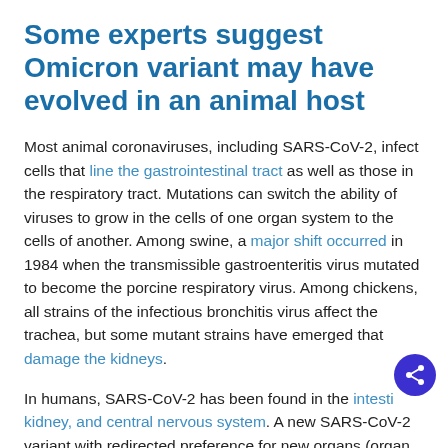Some experts suggest Omicron variant may have evolved in an animal host
Most animal coronaviruses, including SARS-CoV-2, infect cells that line the gastrointestinal tract as well as those in the respiratory tract. Mutations can switch the ability of viruses to grow in the cells of one organ system to the cells of another. Among swine, a major shift occurred in 1984 when the transmissible gastroenteritis virus mutated to become the porcine respiratory virus. Among chickens, all strains of the infectious bronchitis virus affect the trachea, but some mutant strains have emerged that damage the kidneys.
In humans, SARS-CoV-2 has been found in the intestines, kidney, and central nervous system. A new SARS-CoV-2 variant with redirected preference for new organs (organ tropism) could produce new Covid-19 signs and…